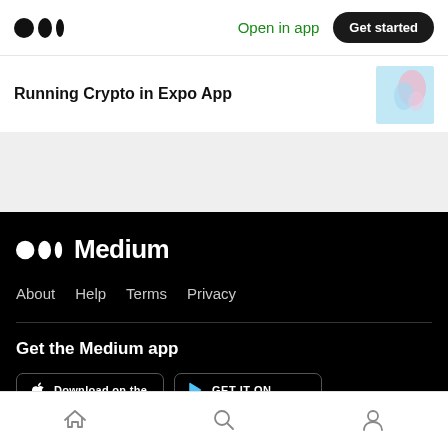Medium logo | Open in app | Get started
Running Crypto in Expo App
[Figure (illustration): Thumbnail image with light blue background and abstract illustration]
[Figure (logo): Medium logo in white with three dots icon on black background]
About
Help
Terms
Privacy
Get the Medium app
[Figure (screenshot): Download on the App Store and GET IT ON Google Play buttons]
Home | Search | Profile navigation icons